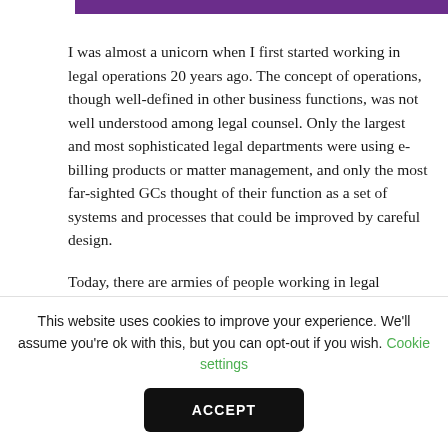[Figure (other): Purple horizontal bar at the top of the page]
I was almost a unicorn when I first started working in legal operations 20 years ago. The concept of operations, though well-defined in other business functions, was not well understood among legal counsel. Only the largest and most sophisticated legal departments were using e-billing products or matter management, and only the most far-sighted GCs thought of their function as a set of systems and processes that could be improved by careful design.
Today, there are armies of people working in legal
This website uses cookies to improve your experience. We'll assume you're ok with this, but you can opt-out if you wish. Cookie settings
ACCEPT